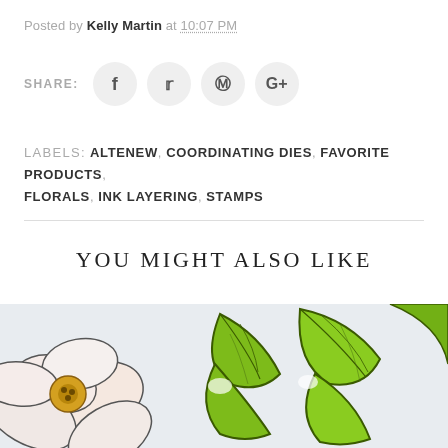Posted by Kelly Martin at 10:07 PM
SHARE: [Facebook] [Twitter] [Pinterest] [Google+]
LABELS: ALTENEW, COORDINATING DIES, FAVORITE PRODUCTS, FLORALS, INK LAYERING, STAMPS
YOU MIGHT ALSO LIKE
[Figure (photo): Close-up photo of stamped and colored floral die cuts — a pink/white flower on the left and bright green leaves on the right, on a light grey-white background.]